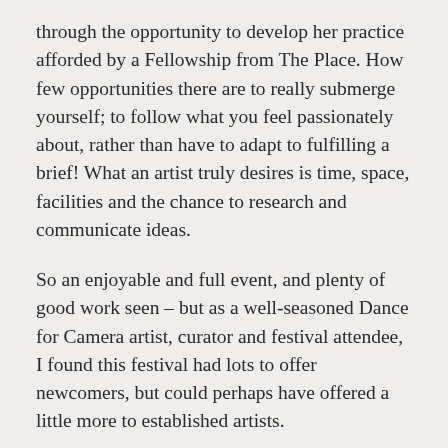through the opportunity to develop her practice afforded by a Fellowship from The Place. How few opportunities there are to really submerge yourself; to follow what you feel passionately about, rather than have to adapt to fulfilling a brief! What an artist truly desires is time, space, facilities and the chance to research and communicate ideas.
So an enjoyable and full event, and plenty of good work seen – but as a well-seasoned Dance for Camera artist, curator and festival attendee, I found this festival had lots to offer newcomers, but could perhaps have offered a little more to established artists.